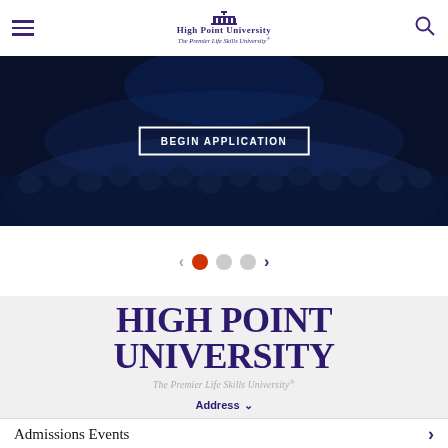High Point University — The Premier Life Skills University
[Figure (photo): Audience seated in a dark auditorium/theater, backlit stage, with a 'BEGIN APPLICATION' button overlay in the center]
[Figure (infographic): Carousel navigation with left arrow, orange active dot, two gray dots, and right arrow]
[Figure (logo): High Point University large logo on gray background: 'HIGH POINT UNIVERSITY' in large serif font, 'The Premier Life Skills University' tagline below, and 'Address' dropdown button]
Admissions Events